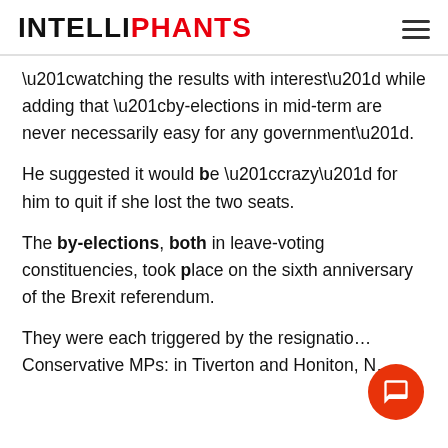INTELLIPHANTS
“watching the results with interest” while adding that “by-elections in mid-term are never necessarily easy for any government”.
He suggested it would be “crazy” for him to quit if she lost the two seats.
The by-elections, both in leave-voting constituencies, took place on the sixth anniversary of the Brexit referendum.
They were each triggered by the resignation of Conservative MPs: in Tiverton and Honiton, N…